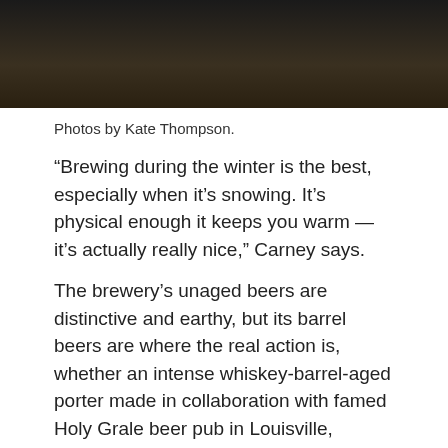[Figure (photo): Dark photograph, partially visible at top of page, appears to show brewing equipment or barrels in dim lighting]
Photos by Kate Thompson.
“Brewing during the winter is the best, especially when it’s snowing. It’s physical enough it keeps you warm — it’s actually really nice,” Carney says.
The brewery’s unaged beers are distinctive and earthy, but its barrel beers are where the real action is, whether an intense whiskey-barrel-aged porter made in collaboration with famed Holy Grale beer pub in Louisville, Kentucky, or blends of spontaneous beers that can take up to three years to finish.
Each November to make their flagship